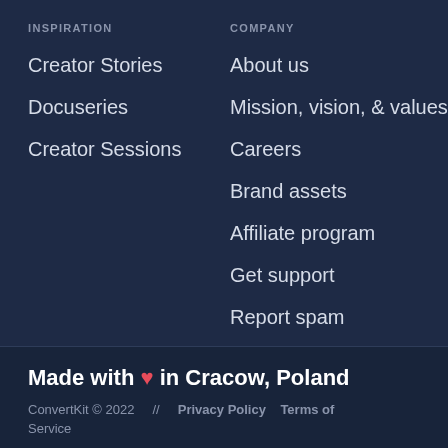INSPIRATION
Creator Stories
Docuseries
Creator Sessions
COMPANY
About us
Mission, vision, & values
Careers
Brand assets
Affiliate program
Get support
Report spam
Made with ❤ in Cracow, Poland
ConvertKit © 2022  //  Privacy Policy  Terms of Service